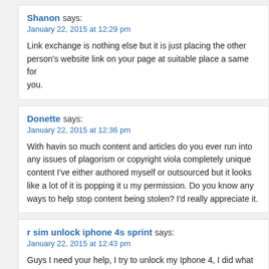Shanon says:
January 22, 2015 at 12:29 pm
Link exchange is nothing else but it is just placing the other person's website link on your page at suitable place a same for you.
Donette says:
January 22, 2015 at 12:36 pm
With havin so much content and articles do you ever run into any issues of plagorism or copyright viola completely unique content I've either authored myself or outsourced but it looks like a lot of it is popping it u my permission. Do you know any ways to help stop content being stolen? I'd really appreciate it.
r sim unlock iphone 4s sprint says:
January 22, 2015 at 12:43 pm
Guys I need your help, I try to unlock my Iphone 4, I did what they say on the notes but now my phone that's not up, please Tell me there is a way to fix this … Maybe a reset Fegv@ thanks.